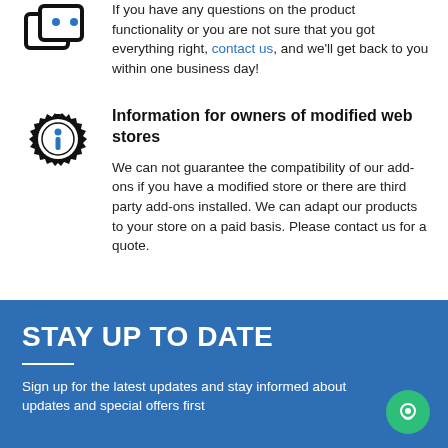If you have any questions on the product functionality or you are not sure that you got everything right, contact us, and we'll get back to you within one business day!
[Figure (illustration): Gear icon with blue info 'i' symbol in the center]
Information for owners of modified web stores
We can not guarantee the compatibility of our add-ons if you have a modified store or there are third party add-ons installed. We can adapt our products to your store on a paid basis. Please contact us for a quote.
STAY UP TO DATE
Sign up for the latest updates and stay informed about updates and special offers first